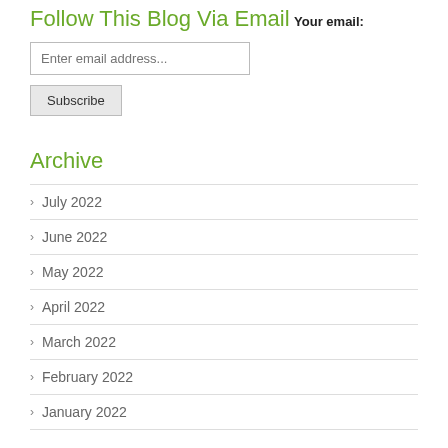Follow This Blog Via Email
Your email:
July 2022
June 2022
May 2022
April 2022
March 2022
February 2022
January 2022